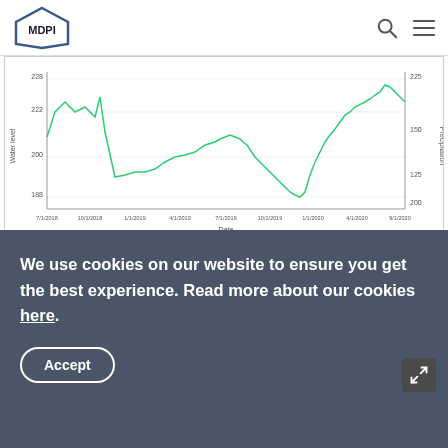MDPI
[Figure (line-chart): Line chart showing water level (y-axis left, range ~188-228) and precipitation (y-axis right, range ~200-225) over dates from 7/1/2018 to 9/1/2020]
Figure 3. Water levels during the study.
Table 4. Summary of data obtained from Takayama Reservoir during the study.
We use cookies on our website to ensure you get the best experience. Read more about our cookies here.